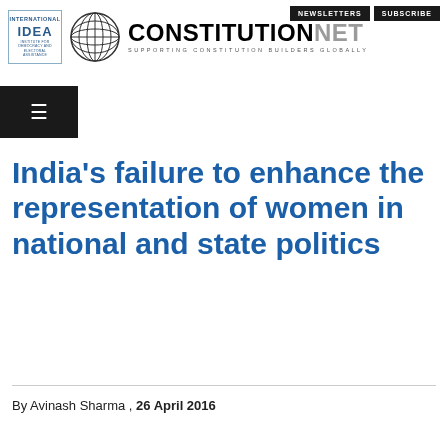NEWSLETTERS  SUBSCRIBE
[Figure (logo): International IDEA logo and ConstitutionNet globe logo with tagline SUPPORTING CONSTITUTION BUILDERS GLOBALLY]
India's failure to enhance the representation of women in national and state politics
By Avinash Sharma , 26 April 2016